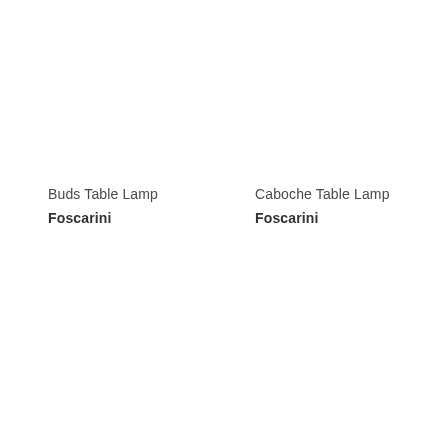Buds Table Lamp
Foscarini
Caboche Table Lamp
Foscarini